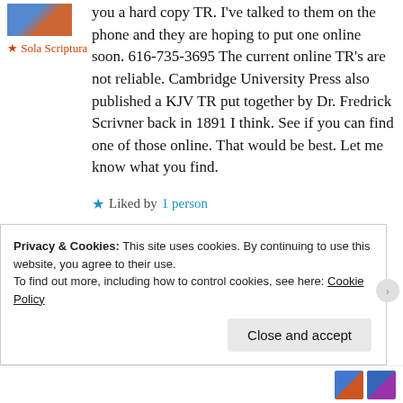[Figure (photo): Small avatar/profile image thumbnail at top left]
★ Sola Scriptura
you a hard copy TR. I've talked to them on the phone and they are hoping to put one online soon. 616-735-3695 The current online TR's are not reliable. Cambridge University Press also published a KJV TR put together by Dr. Fredrick Scrivner back in 1891 I think. See if you can find one of those online. That would be best. Let me know what you find.
★ Liked by 1 person
↳ Reply
Privacy & Cookies: This site uses cookies. By continuing to use this website, you agree to their use.
To find out more, including how to control cookies, see here: Cookie Policy
Close and accept